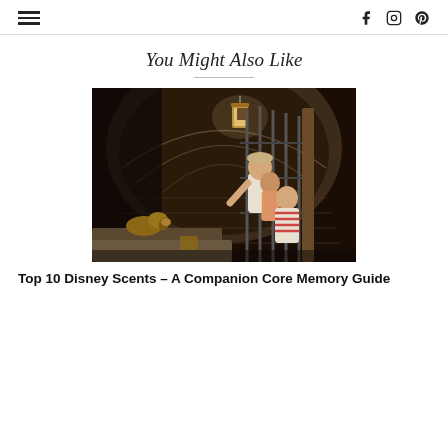≡ [hamburger menu] | f [Facebook] [Instagram] [Pinterest]
You Might Also Like
[Figure (photo): Scene from Pirates of the Caribbean Disney attraction showing prisoners behind bars in a dungeon with a dog holding keys, illuminated by a lantern against a stone arch background.]
Top 10 Disney Scents – A Companion Core Memory Guide